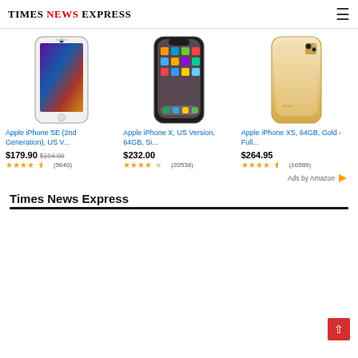Times News Express
[Figure (photo): Apple iPhone SE 2nd Generation product image, white/black front-facing phone]
[Figure (photo): Apple iPhone X product image, front-facing phone showing home screen]
[Figure (photo): Apple iPhone XS 64GB Gold product image, back of gold-colored phone]
Apple iPhone SE (2nd Generation), US V...
$179.90 $194.00 (5640 reviews, 4.5 stars)
Apple iPhone X, US Version, 64GB, Si...
$232.00 (20538 reviews, 4 stars)
Apple iPhone XS, 64GB, Gold - Full...
$264.95 (16589 reviews, 4.5 stars)
Ads by Amazon
Times News Express